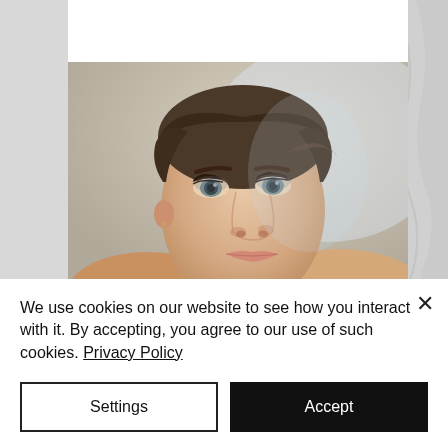[Figure (photo): Close-up portrait photo of a woman with brown hair pulled back, wearing makeup, looking directly at the camera against a light beige/cream background. Only the face and upper shoulders are visible.]
We use cookies on our website to see how you interact with it. By accepting, you agree to our use of such cookies. Privacy Policy